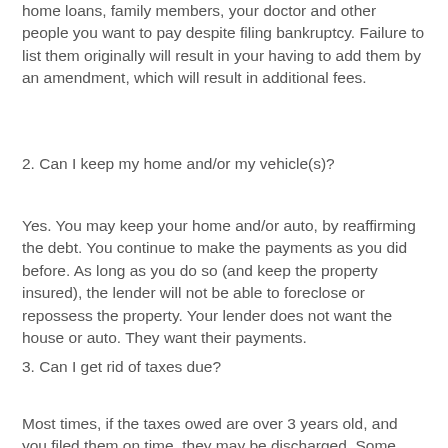home loans, family members, your doctor and other people you want to pay despite filing bankruptcy. Failure to list them originally will result in your having to add them by an amendment, which will result in additional fees.
2. Can I keep my home and/or my vehicle(s)?
Yes. You may keep your home and/or auto, by reaffirming the debt. You continue to make the payments as you did before. As long as you do so (and keep the property insured), the lender will not be able to foreclose or repossess the property. Your lender does not want the house or auto. They want their payments.
3. Can I get rid of taxes due?
Most times, if the taxes owed are over 3 years old, and you filed them on time, they may be discharged. Some